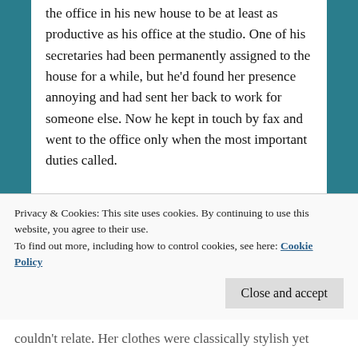the office in his new house to be at least as productive as his office at the studio. One of his secretaries had been permanently assigned to the house for a while, but he'd found her presence annoying and had sent her back to work for someone else. Now he kept in touch by fax and went to the office only when the most important duties called.
Sorensen really didn't like getting out and mixing it up with people anymore, and for the last few years he'd led an ascetic's life. His only indulgence was Debra, and he lavished her with all the attention and love he felt she deserved, and there was literally nothing she wanted that he didn't immediately secure for her. The
Privacy & Cookies: This site uses cookies. By continuing to use this website, you agree to their use.
To find out more, including how to control cookies, see here: Cookie Policy
couldn't relate. Her clothes were classically stylish yet